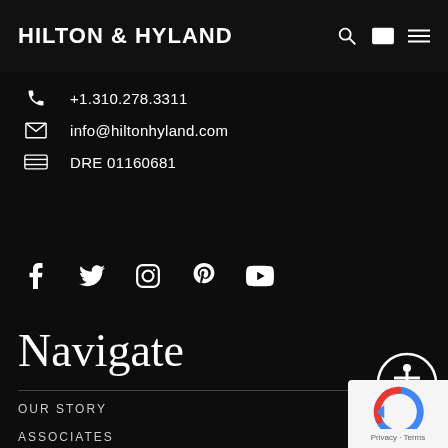HILTON & HYLAND
+1.310.278.3311
info@hiltonhyland.com
DRE 01160681
[Figure (infographic): Social media icons: Facebook, Twitter, Instagram, Pinterest, YouTube]
Navigate
[Figure (infographic): Accessibility icon - circular button with person symbol]
OUR STORY
ASSOCIATES
EXCLUSIVE PROPERTIES
SEARCH ALL HOMES
[Figure (other): Google reCAPTCHA badge with Privacy and Terms links]